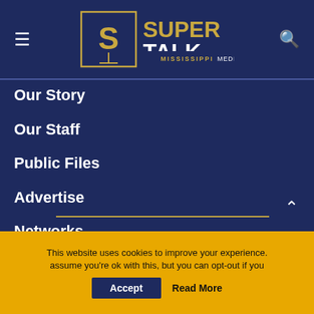SuperTalk Mississippi Media
Our Story
Our Staff
Public Files
Advertise
Networks
Connect
Privacy Policy
Terms & Conditions
This website uses cookies to improve your experience. assume you're ok with this, but you can opt-out if you
Accept
Read More